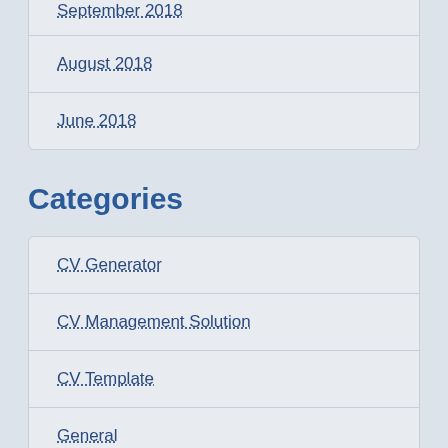September 2018
August 2018
June 2018
Categories
CV Generator
CV Management Solution
CV Template
General
Guest Post